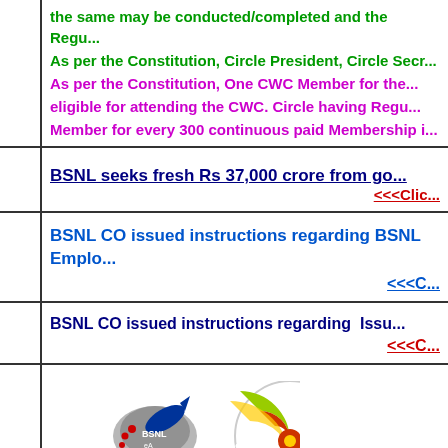the same may be conducted/completed and the Regu...
As per the Constitution, Circle President, Circle Secr...
As per the Constitution, One CWC Member for the... eligible for attending the CWC. Circle having Regu... Member for every 300 continuous paid Membership i...
BSNL seeks fresh Rs 37,000 crore from go...
<<<Clic...
BSNL CO issued instructions regarding BSNL Emplo...
<<<C...
BSNL CO issued instructions regarding  Issu...
<<<C...
[Figure (logo): BSNL logo with rocket/satellite and circular target graphic]